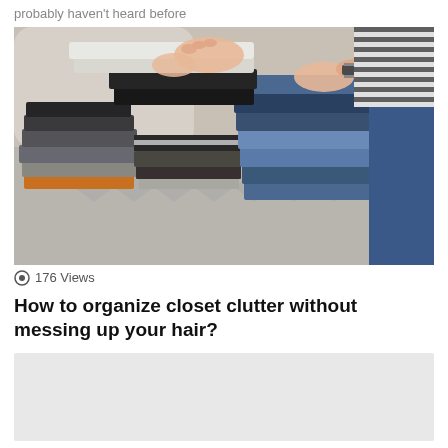probably haven't heard before
[Figure (photo): Person sitting on a couch or bed folding and organizing piles of clothes including jeans, gray, black, orange, and striped garments. Person is wearing jeans and a striped shirt with a watch.]
176 Views
How to organize closet clutter without messing up your hair?
[Figure (other): Gray placeholder box at bottom of page]